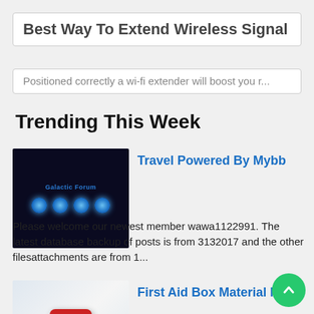Best Way To Extend Wireless Signal
Positioned correctly a wi-fi extender will boost you r...
Trending This Week
[Figure (screenshot): Screenshot of a dark-themed forum or website titled 'Galactic Forum' with blue glowing dots]
Travel Powered By Mybb
Please welcome our newest member wawa1122991. The latest database backup of posts is from 3132017 and the other filesattachments are from 1...
[Figure (photo): First aid kit with red cross bag, scissors, and medical supplies on a white background]
First Aid Box Material Name
Contains all of the necessary first aid supplies to meet the oshaansi guidelines plus. Deluxe osha approved first aid kits packed in a wi...